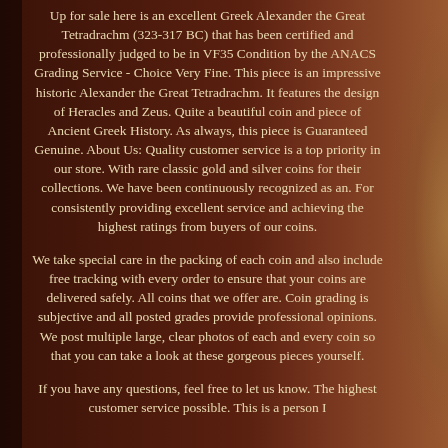Up for sale here is an excellent Greek Alexander the Great Tetradrachm (323-317 BC) that has been certified and professionally judged to be in VF35 Condition by the ANACS Grading Service - Choice Very Fine. This piece is an impressive historic Alexander the Great Tetradrachm. It features the design of Heracles and Zeus. Quite a beautiful coin and piece of Ancient Greek History. As always, this piece is Guaranteed Genuine. About Us: Quality customer service is a top priority in our store. With rare classic gold and silver coins for their collections. We have been continuously recognized as an. For consistently providing excellent service and achieving the highest ratings from buyers of our coins.
We take special care in the packing of each coin and also include free tracking with every order to ensure that your coins are delivered safely. All coins that we offer are. Coin grading is subjective and all posted grades provide professional opinions. We post multiple large, clear photos of each and every coin so that you can take a look at these gorgeous pieces yourself.
If you have any questions, feel free to let us know. The highest customer service possible. This is a person I